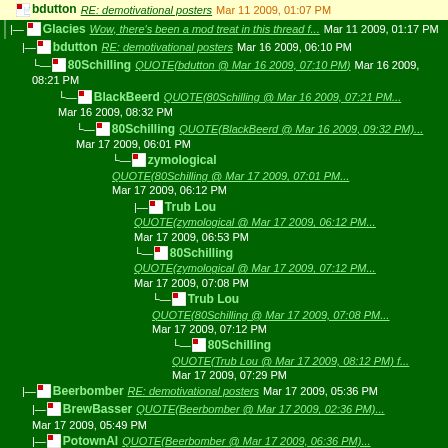bdutton RE: demotivational posters Mar 11 2009, 01:07 PM
Glacies Wow, there's been a mod treat in this thread f... Mar 11 2009, 01:17 PM
bdutton RE: demotivational posters Mar 16 2009, 06:10 PM
80Schilling QUOTE(bdutton @ Mar 16 2009, 07:10 PM) Mar 16 2009, 08:21 PM
BlackBeerd QUOTE(80Schilling @ Mar 16 2009, 07:21 PM... Mar 16 2009, 08:32 PM
80Schilling QUOTE(BlackBeerd @ Mar 16 2009, 09:32 PM)... Mar 17 2009, 06:01 PM
zymological QUOTE(80Schilling @ Mar 17 2009, 07:01 PM... Mar 17 2009, 06:12 PM
Trub Lou QUOTE(zymological @ Mar 17 2009, 06:12 PM... Mar 17 2009, 06:53 PM
80Schilling QUOTE(zymological @ Mar 17 2009, 07:12 PM... Mar 17 2009, 07:08 PM
Trub Lou QUOTE(80Schilling @ Mar 17 2009, 07:08 PM... Mar 17 2009, 07:12 PM
80Schilling QUOTE(Trub Lou @ Mar 17 2009, 08:12 PM) f... Mar 17 2009, 07:29 PM
Beerbomber RE: demotivational posters Mar 17 2009, 05:36 PM
BrewBasser QUOTE(Beerbomber @ Mar 17 2009, 02:36 PM)... Mar 17 2009, 05:49 PM
PotownAl QUOTE(Beerbomber @ Mar 17 2009, 06:36 PM)... Mar 17 2009, 09:17 PM